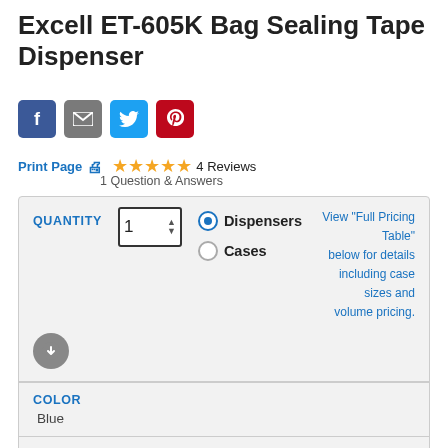Excell ET-605K Bag Sealing Tape Dispenser
[Figure (infographic): Social share buttons: Facebook (blue), Email (gray), Twitter (blue), Pinterest (red)]
Print Page 🖨   ★★★★★  4 Reviews
1 Question & Answers
| QUANTITY | 1 ▲▼ | ● Dispensers |  |
|  |  | ○ Cases | View "Full Pricing Table" below for details including case sizes and volume pricing. |
COLOR
Blue
DISPENSER SIZE
For tape up to 12mm wide **sale